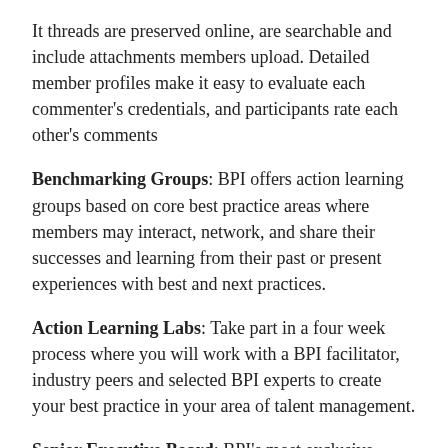It threads are preserved online, are searchable and include attachments members upload. Detailed member profiles make it easy to evaluate each commenter's credentials, and participants rate each other's comments
Benchmarking Groups: BPI offers action learning groups based on core best practice areas where members may interact, network, and share their successes and learning from their past or present experiences with best and next practices.
Action Learning Labs: Take part in a four week process where you will work with a BPI facilitator, industry peers and selected BPI experts to create your best practice in your area of talent management.
Senior Executive Board: BPI's most exclusive offering where a select group of senior executives in talent management are chosen to take part in a year long experience meeting on-